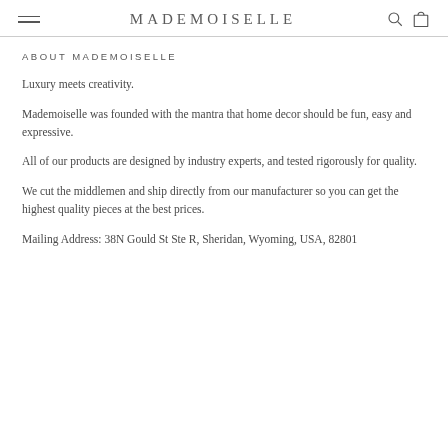MADEMOISELLE
ABOUT MADEMOISELLE
Luxury meets creativity.
Mademoiselle was founded with the mantra that home decor should be fun, easy and expressive.
All of our products are designed by industry experts, and tested rigorously for quality.
We cut the middlemen and ship directly from our manufacturer so you can get the highest quality pieces at the best prices.
Mailing Address: 38N Gould St Ste R, Sheridan, Wyoming, USA, 82801